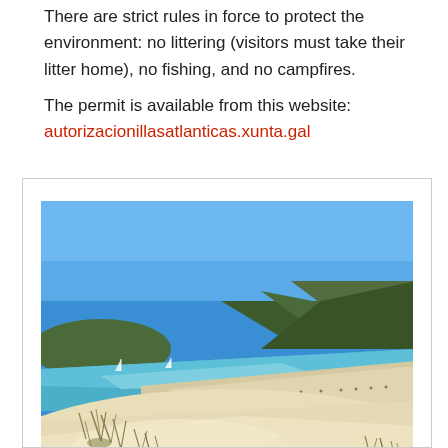There are strict rules in force to protect the environment: no littering (visitors must take their litter home), no fishing, and no campfires.
The permit is available from this website: autorizacionillasatlanticas.xunta.gal
[Figure (photo): Beach scene with white sand dunes and beach grass in foreground, turquoise/blue water in middle ground, sandy beach with people, green hills and mountains in background, clear blue sky.]